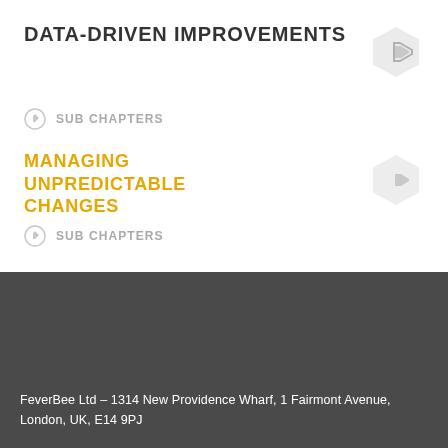DATA-DRIVEN IMPROVEMENTS
SUB CHAPTERS
MANAGING UNPREDICTABLE CHANGES
SUB CHAPTERS
FeverBee Ltd – 1314 New Providence Wharf, 1 Fairmont Avenue, London, UK, E14 9PJ